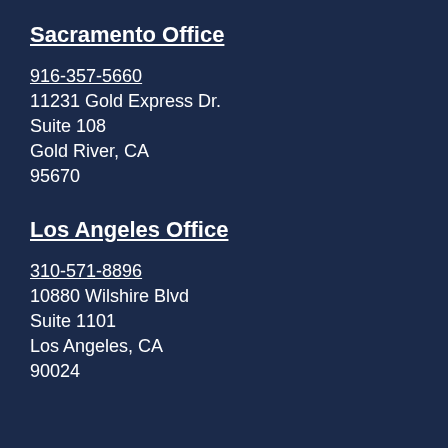Sacramento Office
916-357-5660
11231 Gold Express Dr.
Suite 108
Gold River, CA
95670
Los Angeles Office
310-571-8896
10880 Wilshire Blvd
Suite 1101
Los Angeles, CA
90024